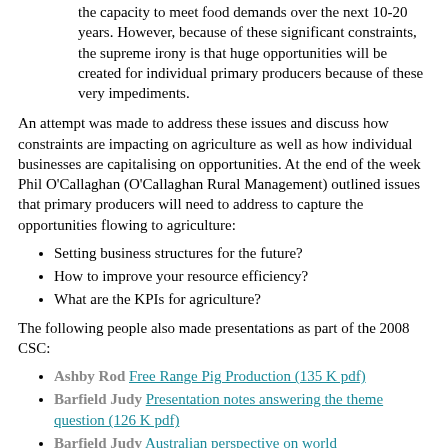the capacity to meet food demands over the next 10-20 years. However, because of these significant constraints, the supreme irony is that huge opportunities will be created for individual primary producers because of these very impediments.
An attempt was made to address these issues and discuss how constraints are impacting on agriculture as well as how individual businesses are capitalising on opportunities. At the end of the week Phil O'Callaghan (O'Callaghan Rural Management) outlined issues that primary producers will need to address to capture the opportunities flowing to agriculture:
Setting business structures for the future?
How to improve your resource efficiency?
What are the KPIs for agriculture?
The following people also made presentations as part of the 2008 CSC:
Ashby Rod Free Range Pig Production (135 K pdf)
Barfield Judy Presentation notes answering the theme question (126 K pdf)
Barfield Judy Australian perspective on world agriculture/trade issues (1.75 MB pdf)
Blackwell John Irrigation futures (1.8 MB pdf)